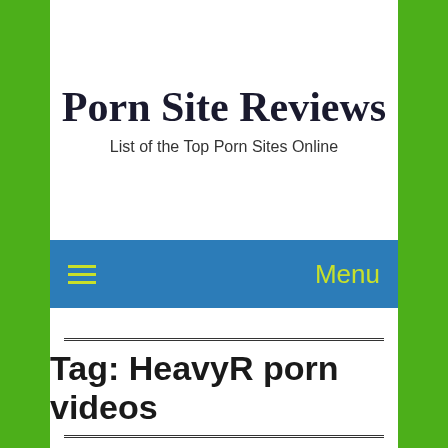Porn Site Reviews
List of the Top Porn Sites Online
≡  Menu
Tag: HeavyR porn videos